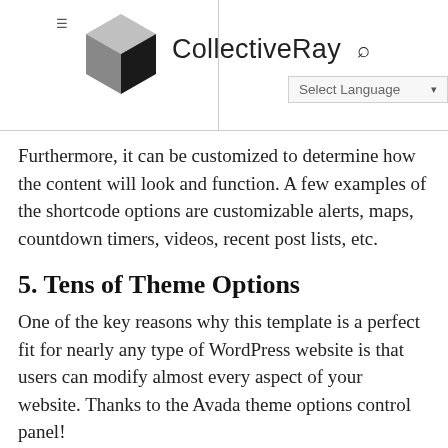CollectiveRay
Furthermore, it can be customized to de[termine how the content] will look and function. A few examples of the shortcode options are customizable alerts, maps, countdown timers, videos, recent post lists, etc.
5. Tens of Theme Options
One of the key reasons why this template is a perfect fit for nearly any type of WordPress website is that users can modify almost every aspect of your website. Thanks to the Avada theme options control panel!